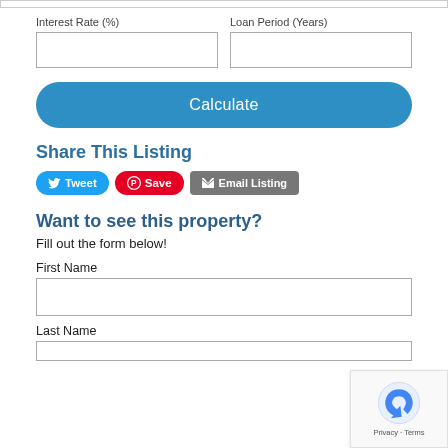Interest Rate (%)
Loan Period (Years)
Calculate
Share This Listing
Tweet  Save  Email Listing
Want to see this property?
Fill out the form below!
First Name
Last Name